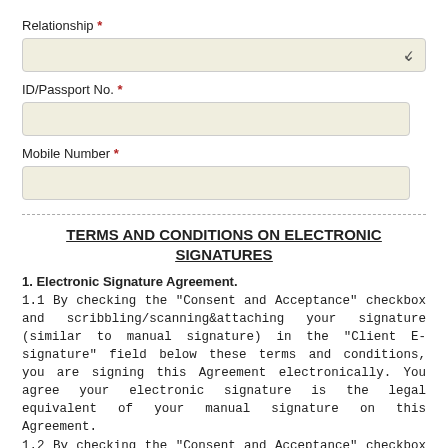Relationship *
ID/Passport No. *
Mobile Number *
TERMS AND CONDITIONS ON ELECTRONIC SIGNATURES
1. Electronic Signature Agreement.
1.1 By checking the "Consent and Acceptance" checkbox and scribbling/scanning&attaching your signature (similar to manual signature) in the "Client E-signature" field below these terms and conditions, you are signing this Agreement electronically. You agree your electronic signature is the legal equivalent of your manual signature on this Agreement.
1.2 By checking the "Consent and Acceptance" checkbox and scribbling/scanning&attaching your signature (similar to manual signature) in the "Client E-signature" field, you consent to be legally bound by this Agreement's terms and conditions. You further agree that your use of a key pad, mouse or other input device to select an item/icon, or scribbling